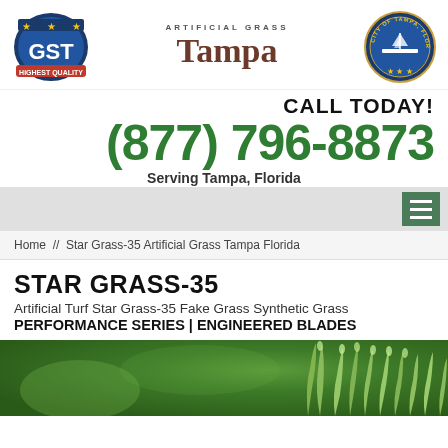[Figure (logo): GST Highest Quality logo, Artificial Grass Tampa logo, City of Tampa Florida seal]
CALL TODAY!
(877) 796-8873
Serving Tampa, Florida
[Figure (other): Navigation menu hamburger button on grey bar]
Home // Star Grass-35 Artificial Grass Tampa Florida
STAR GRASS-35
Artificial Turf Star Grass-35 Fake Grass Synthetic Grass
PERFORMANCE SERIES | ENGINEERED BLADES
[Figure (photo): Close-up photo of artificial grass blades, green color]